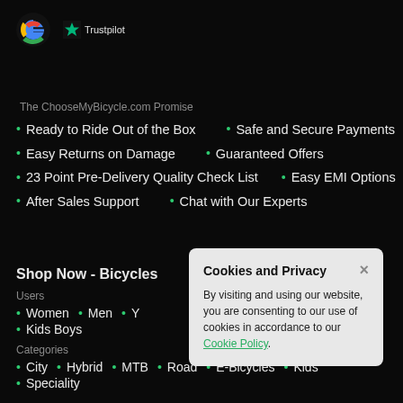[Figure (logo): Google G logo and Trustpilot star logo with text]
The ChooseMyBicycle.com Promise
Ready to Ride Out of the Box
Safe and Secure Payments
Easy Returns on Damage
Guaranteed Offers
23 Point Pre-Delivery Quality Check List
Easy EMI Options
After Sales Support
Chat with Our Experts
Shop Now - Bicycles
Users
Women
Men
Y...
Kids Boys
Categories
City
Hybrid
MTB
Road
E-Bicycles
Kids
Speciality
Cookies and Privacy
By visiting and using our website, you are consenting to our use of cookies in accordance to our Cookie Policy.